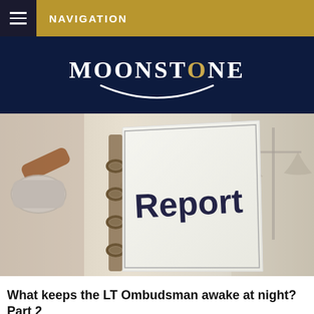NAVIGATION
[Figure (logo): Moonstone logo — white text on dark navy background with curved underline accent]
[Figure (photo): A legal report binder with 'Report' text prominently displayed, alongside a judge's gavel and scales of justice in the background]
What keeps the LT Ombudsman awake at night? Part 2